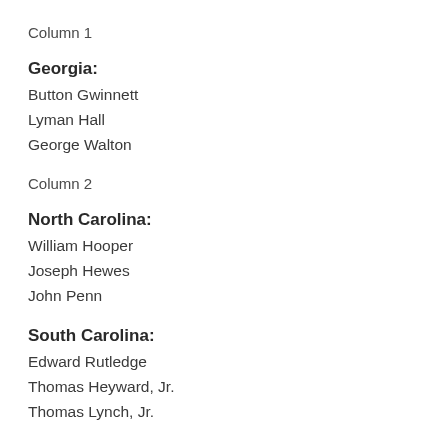Column 1
Georgia:
Button Gwinnett
Lyman Hall
George Walton
Column 2
North Carolina:
William Hooper
Joseph Hewes
John Penn
South Carolina:
Edward Rutledge
Thomas Heyward, Jr.
Thomas Lynch, Jr.